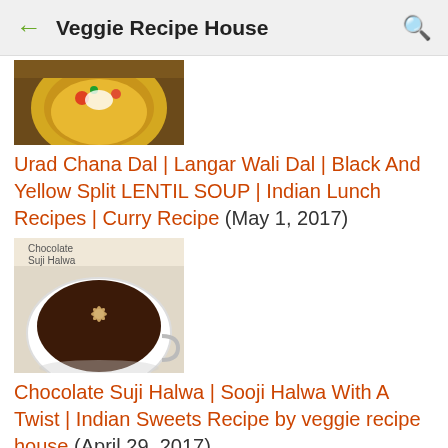Veggie Recipe House
[Figure (photo): Bowl of dal/lentil soup with butter garnish on a wooden surface]
Urad Chana Dal | Langar Wali Dal | Black And Yellow Split LENTIL SOUP | Indian Lunch Recipes | Curry Recipe (May 1, 2017)
[Figure (photo): Chocolate Suji Halwa in a white bowl with flower decoration on top, text 'Chocolate Suji Halwa' visible]
Chocolate Suji Halwa | Sooji Halwa With A Twist | Indian Sweets Recipe by veggie recipe house (April 29, 2017)
[Figure (photo): Pizza-style dish in a black pan with colorful toppings, partial view at bottom]